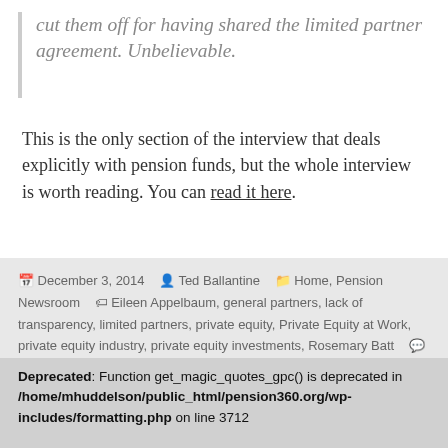cut them off for having shared the limited partner agreement. Unbelievable.
This is the only section of the interview that deals explicitly with pension funds, but the whole interview is worth reading. You can read it here.
December 3, 2014  Ted Ballantine  Home, Pension Newsroom  Eileen Appelbaum, general partners, lack of transparency, limited partners, private equity, Private Equity at Work, private equity industry, private equity investments, Rosemary Batt  Leave a comment
Proudly powered by WordPress
Deprecated: Function get_magic_quotes_gpc() is deprecated in /home/mhuddelson/public_html/pension360.org/wp-includes/formatting.php on line 3712